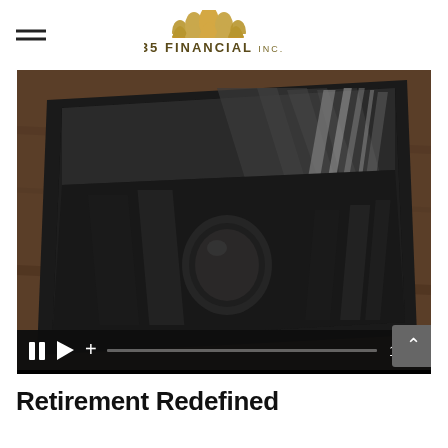435 FINANCIAL INC. — logo and navigation
[Figure (screenshot): Video player showing a tablet lying on a wooden table displaying a dark architectural/interior scene on its screen. Player controls at bottom show pause, play, plus icons, a progress bar, and timestamp 1:16. A scroll-up button is in the bottom-right corner.]
Retirement Redefined